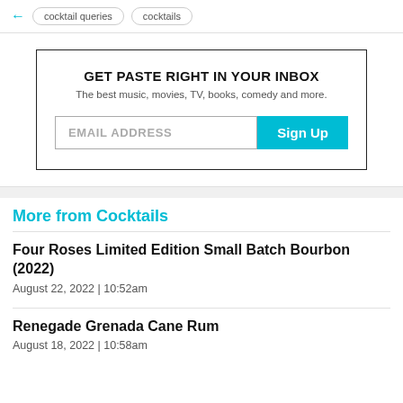cocktail queries   cocktails
GET PASTE RIGHT IN YOUR INBOX
The best music, movies, TV, books, comedy and more.
EMAIL ADDRESS  Sign Up
More from Cocktails
Four Roses Limited Edition Small Batch Bourbon (2022)
August 22, 2022  |  10:52am
Renegade Grenada Cane Rum
August 18, 2022  |  10:58am